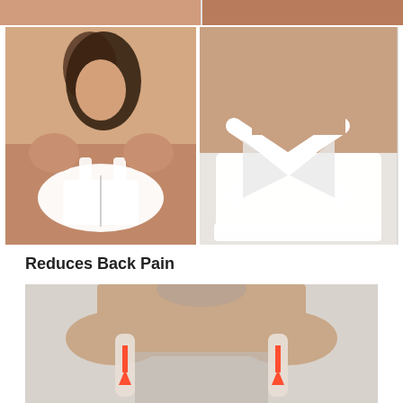[Figure (photo): Product photo collage of a white sports/posture bra. Top strip shows torso/back areas. Main grid: left panel shows a woman wearing a white front-zip sports bra (front view); right panel shows the back of the same white bra with an X-shaped cross-back strap design.]
Reduces Back Pain
[Figure (photo): Photo of a woman's upper back/neck area wearing a light pink/beige posture bra, with red/orange upward-pointing arrows overlaid on the shoulder straps to indicate lifting/support direction.]